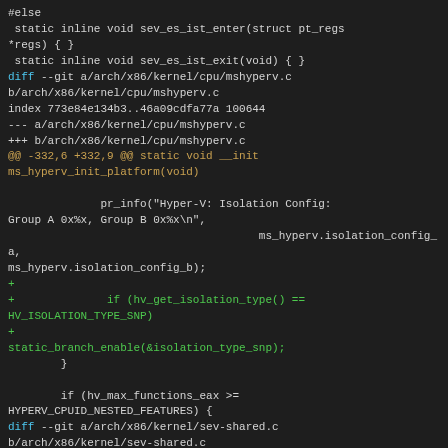#else
 static inline void sev_es_ist_enter(struct pt_regs *regs) { }
 static inline void sev_es_ist_exit(void) { }
diff --git a/arch/x86/kernel/cpu/mshyperv.c b/arch/x86/kernel/cpu/mshyperv.c
index 773e84e134b3..46a09cdfa77a 100644
--- a/arch/x86/kernel/cpu/mshyperv.c
+++ b/arch/x86/kernel/cpu/mshyperv.c
@@ -332,6 +332,9 @@ static void __init ms_hyperv_init_platform(void)

                pr_info("Hyper-V: Isolation Config: Group A 0x%x, Group B 0x%x\n",
                                        ms_hyperv.isolation_config_a,
 ms_hyperv.isolation_config_b);
+
+               if (hv_get_isolation_type() == HV_ISOLATION_TYPE_SNP)
+
static_branch_enable(&isolation_type_snp);
        }

        if (hv_max_functions_eax >= HYPERV_CPUID_NESTED_FEATURES) {
diff --git a/arch/x86/kernel/sev-shared.c b/arch/x86/kernel/sev-shared.c
index 9f90f460a28c..e039e55b9c72 100644
--- a/arch/x86/kernel/sev-shared.c
+++ b/arch/x86/kernel/sev-shared.c